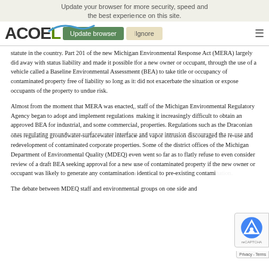Update your browser for more security, speed and the best experience on this site.
[Figure (logo): ACOEL logo with swoosh above the L, Update browser button (green), Ignore button (tan), hamburger menu icon]
statute in the country. Part 201 of the new Michigan Environmental Response Act (MERA) largely did away with status liability and made it possible for a new owner or occupant, through the use of a vehicle called a Baseline Environmental Assessment (BEA) to take title or occupancy of contaminated property free of liability so long as it did not exacerbate the situation or expose occupants of the property to undue risk.
Almost from the moment that MERA was enacted, staff of the Michigan Environmental Regulatory Agency began to adopt and implement regulations making it increasingly difficult to obtain an approved BEA for industrial, and some commercial, properties. Regulations such as the Draconian ones regulating groundwater-surfacewater interface and vapor intrusion discouraged the re-use and redevelopment of contaminated corporate properties. Some of the district offices of the Michigan Department of Environmental Quality (MDEQ) even went so far as to flatly refuse to even consider review of a draft BEA seeking approval for a new use of contaminated property if the new owner or occupant was likely to generate any contamination identical to pre-existing contamination.
The debate between MDEQ staff and environmental groups on one side and